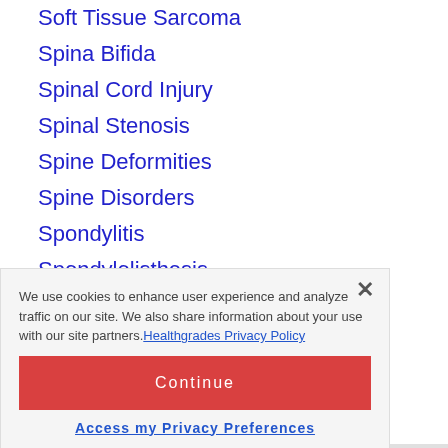Soft Tissue Sarcoma
Spina Bifida
Spinal Cord Injury
Spinal Stenosis
Spine Deformities
Spine Disorders
Spondylitis
Spondylolisthesis
We use cookies to enhance user experience and analyze traffic on our site. We also share information about your use with our site partners. Healthgrades Privacy Policy
Continue
Access my Privacy Preferences